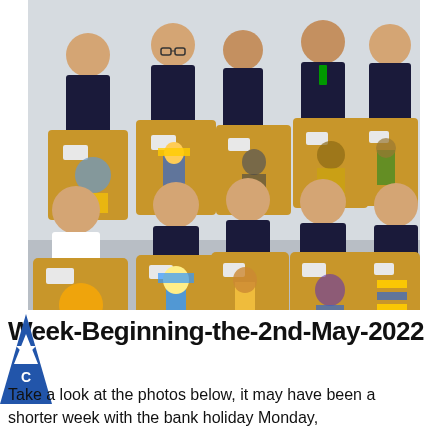[Figure (photo): Group photo of approximately 11 primary school children in navy school uniforms, holding up brown paper bags with hand-drawn Egyptian-themed artwork (pharaohs, hieroglyphs) on them. They are posing in two rows against a light grey wall.]
Week-Beginning-the-2nd-May-2022
Take a look at the photos below, it may have been a shorter week with the bank holiday Monday,